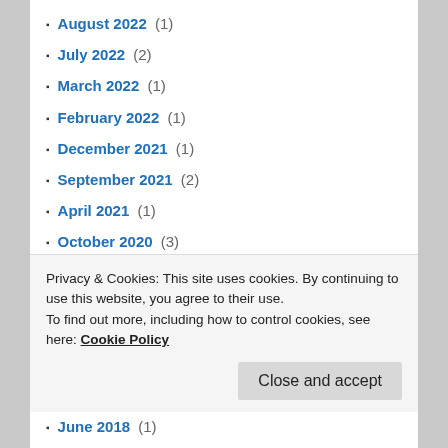August 2022 (1)
July 2022 (2)
March 2022 (1)
February 2022 (1)
December 2021 (1)
September 2021 (2)
April 2021 (1)
October 2020 (3)
January 2020 (16)
December 2019 (17)
November 2019 (1)
October 2019 (17)
September 2019 (2)
August 2019 (9)
Privacy & Cookies: This site uses cookies. By continuing to use this website, you agree to their use. To find out more, including how to control cookies, see here: Cookie Policy
June 2018 (1)